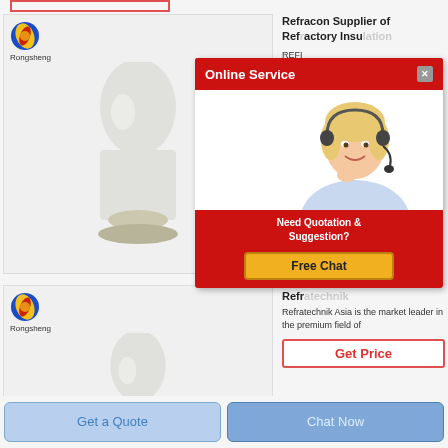[Figure (photo): Product photo top: white/grey cone-shaped refractory material on a pedestal, with Rongsheng logo top-left]
Refracon Supplier of Refractory Insulation
REFI leading
[Figure (screenshot): Online Service popup with red header, female agent with headset, 'Need Quotation & Suggestion?' text, and Free Chat button]
[Figure (photo): Product photo bottom: white/grey cone-shaped refractory material, with Rongsheng logo top-left (partially cropped)]
Refratechnik Asia is the market leader in the premium field of
Get Price
Get a Quote
Chat Now